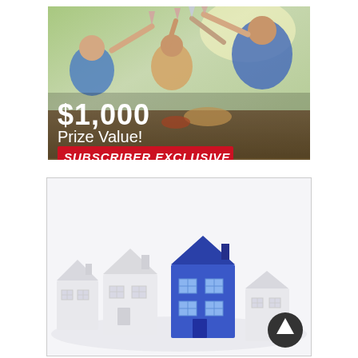[Figure (photo): Group of friends toasting with wine glasses outdoors at a table with food. Overlay text reads '$1,000 Prize Value!' and a red banner says 'SUBSCRIBER EXCLUSIVE'.]
[Figure (photo): 3D render of small white model houses in a row, with one blue house standing out in the middle. A dark circular up-arrow button is in the bottom-right corner.]